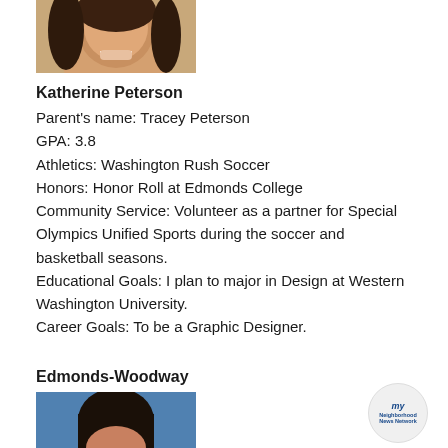[Figure (photo): Partial photo of a young woman smiling, cropped at the top of the page, showing face and dark hair]
Katherine Peterson
Parent's name: Tracey Peterson
GPA: 3.8
Athletics: Washington Rush Soccer
Honors: Honor Roll at Edmonds College
Community Service: Volunteer as a partner for Special Olympics Unified Sports during the soccer and basketball seasons.
Educational Goals: I plan to major in Design at Western Washington University.
Career Goals: To be a Graphic Designer.
Edmonds-Woodway
[Figure (photo): Partial photo of a young woman with dark hair against a blue background, cropped at the bottom of the page]
[Figure (logo): My Neighborhood News Network circular logo]